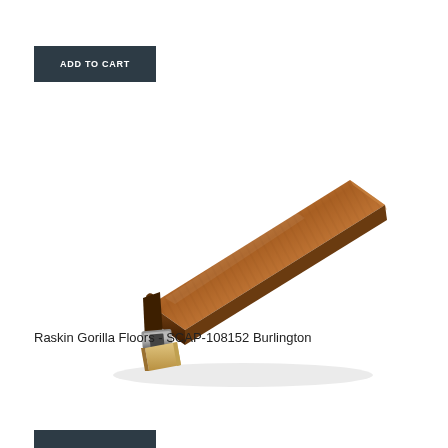ADD TO CART
[Figure (photo): A wood-grain T-molding or reducer flooring transition strip in a warm reddish-brown Burlington finish, shown at an angle with a metal rail and wooden base visible at one end.]
Raskin Gorilla Floors - SCAP-108152 Burlington